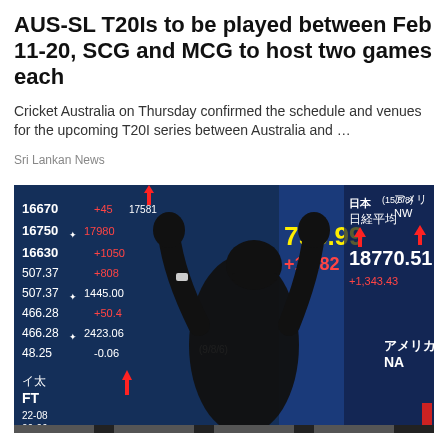AUS-SL T20Is to be played between Feb 11-20, SCG and MCG to host two games each
Cricket Australia on Thursday confirmed the schedule and venues for the upcoming T20I series between Australia and …
Sri Lankan News
[Figure (photo): A person in black clothing raises their fists in front of a large stock market board showing Japanese and other financial figures including 793.99, +17.82, 18770.51, and other stock numbers on a blue digital display.]